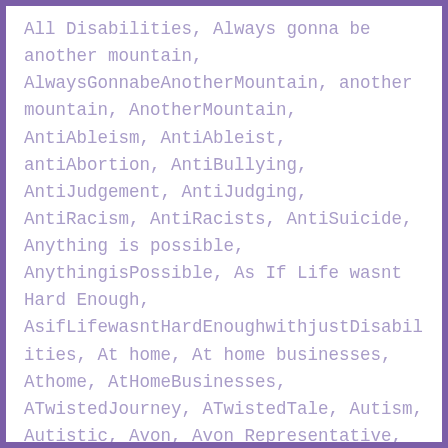All Disabilities, Always gonna be another mountain, AlwaysGonnabeAnotherMountain, another mountain, AnotherMountain, AntiAbleism, AntiAbleist, antiAbortion, AntiBullying, AntiJudgement, AntiJudging, AntiRacism, AntiRacists, AntiSuicide, Anything is possible, AnythingisPossible, As If Life wasnt Hard Enough, AsifLifewasntHardEnoughwithjustDisabilities, At home, At home businesses, Athome, AtHomeBusinesses, ATwistedJourney, ATwistedTale, Autism, Autistic, Avon, Avon Representative, AvonRepresentative, Back Brace, Back Pain, BackBraces, BackPain, Be accepting, BeAccepting, Beauty, Blogging, Braces, Bracing, Bullying, Bump in the road, bumps in the road, Business, Business Flow,